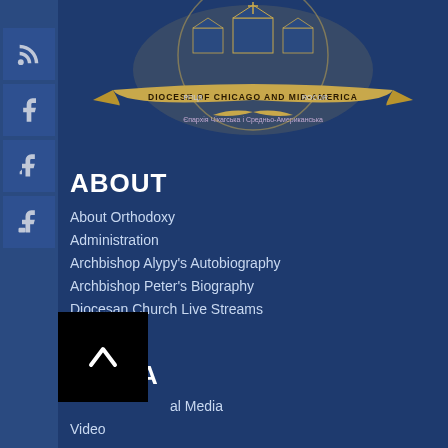[Figure (logo): Diocese of Chicago and Mid-America crest/seal with golden banner and Orthodox church imagery]
ABOUT
About Orthodoxy
Administration
Archbishop Alypy's Autobiography
Archbishop Peter's Biography
Diocesan Church Live Streams
MEDIA
al Media
Video